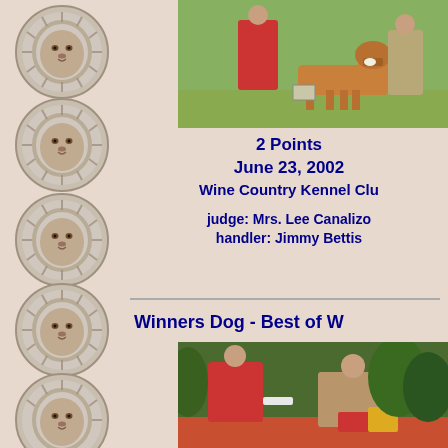[Figure (illustration): Column of 6 decorative lion head medallion graphics on beige/pink background along the left side]
[Figure (photo): Boxer dog being shown at a dog show, handlers in red and tan clothing, outdoor grass setting]
2 Points
June 23, 2002
Wine Country Kennel Club

judge: Mrs. Lee Canalizо
handler: Jimmy Bettis
Winners Dog - Best of W
[Figure (photo): Two people at a dog show, woman in red coat and man in tan/brown jacket bending down, with dog paraphernalia visible]